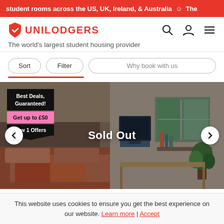student rooms across the US, UK, Ireland, & Australia  ☺  The
[Figure (logo): Unilodgers logo with shield icon and text UNILODGERS in red]
The world's largest student housing provider
Sort   Filter   Why book with us
[Figure (photo): Student bedroom interior with bed, shelves, TV, window with view, plant, and desk. Overlay text: Sold Out. Deal badge showing Best Deals, Guaranteed!, Get up to £50, View 1 Offers.]
This website uses cookies to ensure you get the best experience on our website. Learn more | Accept